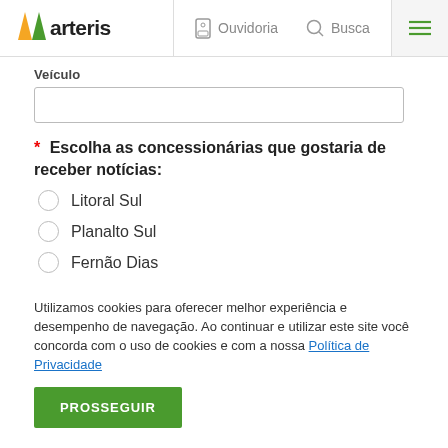arteris | Ouvidoria | Busca
Veículo
* Escolha as concessionárias que gostaria de receber notícias:
Litoral Sul
Planalto Sul
Fernão Dias
Utilizamos cookies para oferecer melhor experiência e desempenho de navegação. Ao continuar e utilizar este site você concorda com o uso de cookies e com a nossa Política de Privacidade
PROSSEGUIR